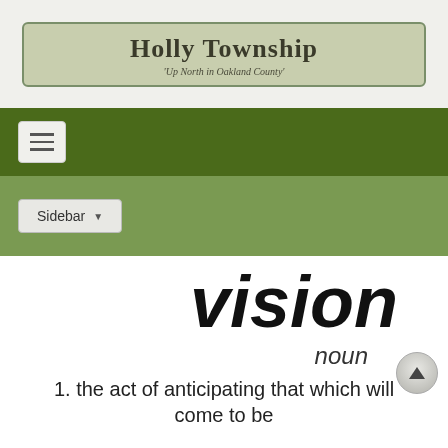[Figure (logo): Holly Township logo with text 'Holly Township - Up North in Oakland County' inside a rounded rectangle with olive green border on tan background]
vision
noun
1. the act of anticipating that which will come to be